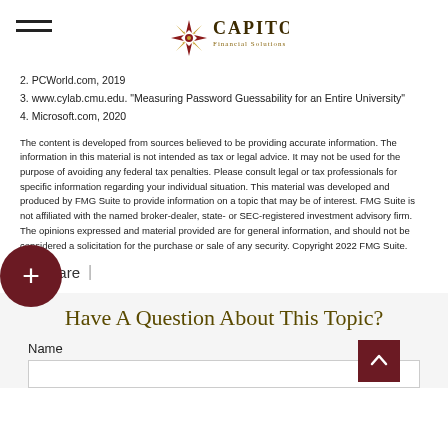Capitol Financial Solutions
2. PCWorld.com, 2019
3. www.cylab.cmu.edu. "Measuring Password Guessability for an Entire University"
4. Microsoft.com, 2020
The content is developed from sources believed to be providing accurate information. The information in this material is not intended as tax or legal advice. It may not be used for the purpose of avoiding any federal tax penalties. Please consult legal or tax professionals for specific information regarding your individual situation. This material was developed and produced by FMG Suite to provide information on a topic that may be of interest. FMG Suite is not affiliated with the named broker-dealer, state- or SEC-registered investment advisory firm. The opinions expressed and material provided are for general information, and should not be considered a solicitation for the purchase or sale of any security. Copyright 2022 FMG Suite.
Share |
Have A Question About This Topic?
Name